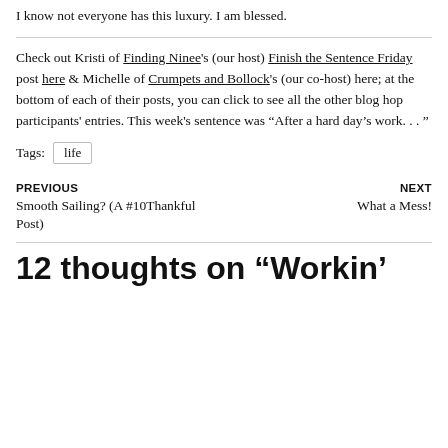I know not everyone has this luxury. I am blessed.
Check out Kristi of Finding Ninee's (our host) Finish the Sentence Friday post here & Michelle of Crumpets and Bollock's (our co-host) here; at the bottom of each of their posts, you can click to see all the other blog hop participants' entries. This week's sentence was “After a hard day’s work. . . ”
Tags: life
PREVIOUS
Smooth Sailing? (A #10Thankful Post)
NEXT
What a Mess!
12 thoughts on “Workin’